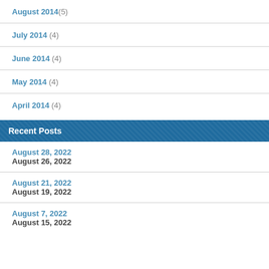August 2014 (5)
July 2014 (4)
June 2014 (4)
May 2014 (4)
April 2014 (4)
Recent Posts
August 28, 2022
August 26, 2022
August 21, 2022
August 19, 2022
August 7, 2022
August 15, 2022